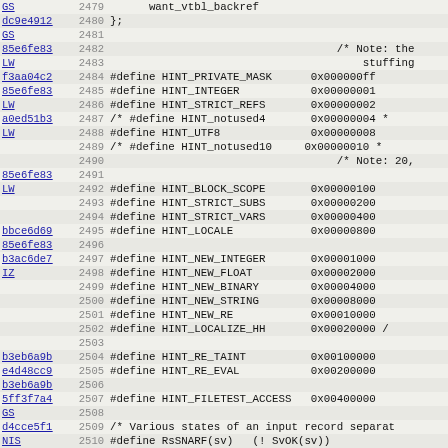[Figure (screenshot): Source code viewer showing Perl/C header file lines 2479-2510 with commit hashes, line numbers, and code content including #define macros for HINT_* constants]